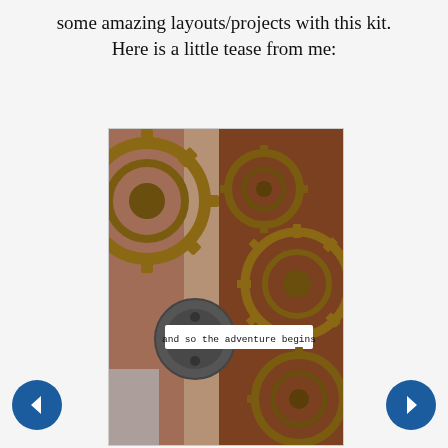some amazing layouts/projects with this kit.
Here is a little tease from me:
[Figure (photo): A steampunk-style scrapbook layout featuring rusty metal gears on the left, and a patterned background of gears on the right side. A strip of text in typewriter font reads 'and so the adventure begins'. The composition has warm brown, rust, and copper tones.]